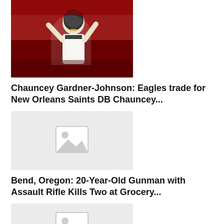[Figure (photo): NFL player in white New Orleans Saints uniform with arms raised, red arena background]
Chauncey Gardner-Johnson: Eagles trade for New Orleans Saints DB Chauncey...
[Figure (photo): Placeholder image with grey background and image icon]
Bend, Oregon: 20-Year-Old Gunman with Assault Rifle Kills Two at Grocery...
[Figure (photo): Placeholder image with grey background and image icon]